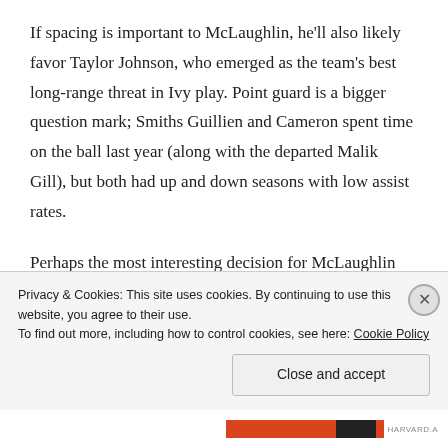If spacing is important to McLaughlin, he'll also likely favor Taylor Johnson, who emerged as the team's best long-range threat in Ivy play. Point guard is a bigger question mark; Smiths Guillien and Cameron spent time on the ball last year (along with the departed Malik Gill), but both had up and down seasons with low assist rates.
Perhaps the most interesting decision for McLaughlin comes in the frontcourt: Who should play alongside Boudreaux? The rising sophomore can step outside on
Privacy & Cookies: This site uses cookies. By continuing to use this website, you agree to their use.
To find out more, including how to control cookies, see here: Cookie Policy

Close and accept